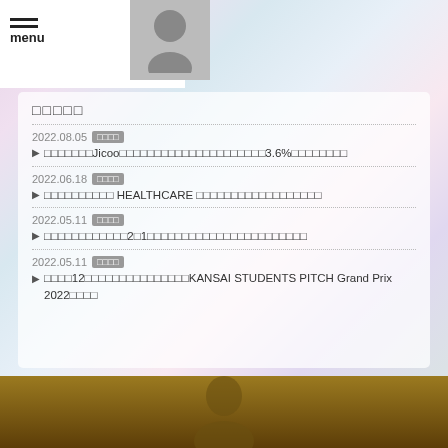menu
□□□□□
2022.08.05 [□□□□]
□□□□□□□Jicoo□□□□□□□□□□□□□□□□□□□□□3.6%□□□□□□□□
2022.06.18 [□□□□]
□□□□□□□□□□ HEALTHCARE □□□□□□□□□□□□□□□□□□
2022.05.11 [□□□□]
□□□□□□□□□□□□2□1□□□□□□□□□□□□□□□□□□□□□□□
2022.05.11 [□□□□]
□□□□12□□□□□□□□□□□□□□□KANSAI STUDENTS PITCH Grand Prix 2022□□□□
[Figure (photo): Bottom photo showing a person, brown/dark background]